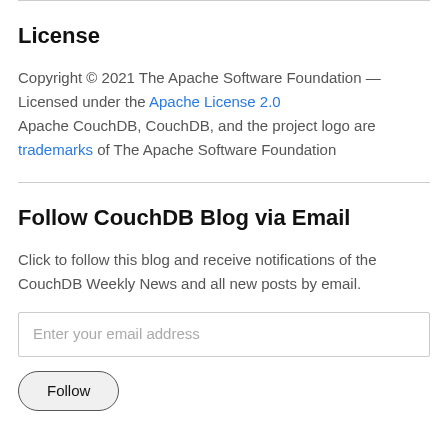License
Copyright © 2021 The Apache Software Foundation — Licensed under the Apache License 2.0
Apache CouchDB, CouchDB, and the project logo are trademarks of The Apache Software Foundation
Follow CouchDB Blog via Email
Click to follow this blog and receive notifications of the CouchDB Weekly News and all new posts by email.
Enter your email address
Follow